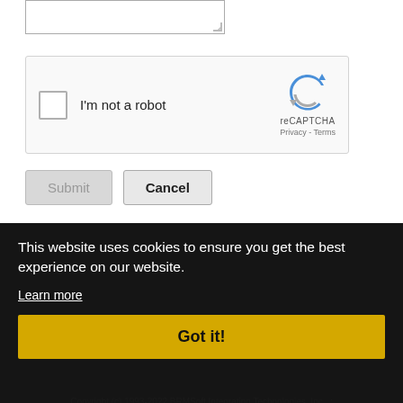[Figure (screenshot): reCAPTCHA widget with checkbox labeled 'I'm not a robot' and reCAPTCHA logo/brand on the right]
[Figure (screenshot): Form buttons: greyed-out Submit button and Cancel button]
This website uses cookies to ensure you get the best experience on our website.
Learn more
Got it!
Copyright (c) 1993-2022 BRMSoft Integrating Technologies, Inc. :
Terms Of Use : Privacy Statement